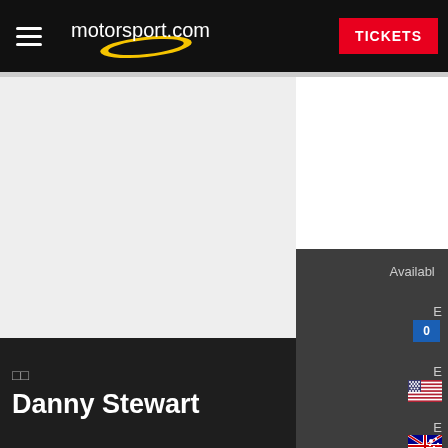motorsport.com
TICKETS
□□
Danny Stewart
Available
E
E
E
[Figure (other): Home/up arrow circular icon button]
[Figure (other): US flag icon]
[Figure (other): Australian flag icon]